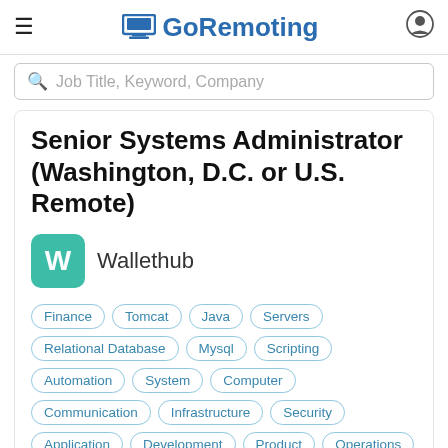GoRemoting
Job Title, Keyword, Company
Senior Systems Administrator (Washington, D.C. or U.S. Remote)
Wallethub
Finance
Tomcat
Java
Servers
Relational Database
Mysql
Scripting
Automation
System
Computer
Communication
Infrastructure
Security
Application
Development
Product
Operations
Office
Data
Shell
Linux
Amazon Web Services
Unix
Sysadmin